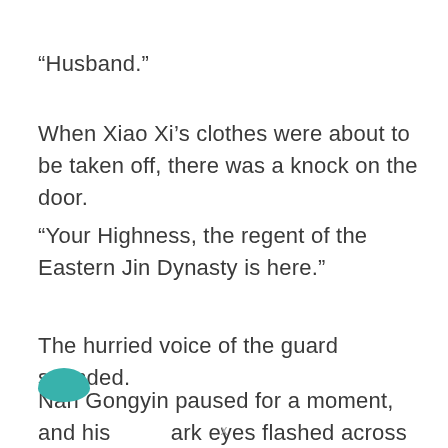“Husband.”
When Xiao Xi’s clothes were about to be taken off, there was a knock on the door.
“Your Highness, the regent of the Eastern Jin Dynasty is here.”
The hurried voice of the guard sounded.
Nan Gongyin paused for a moment, and his dark eyes flashed across the darkness like a
x